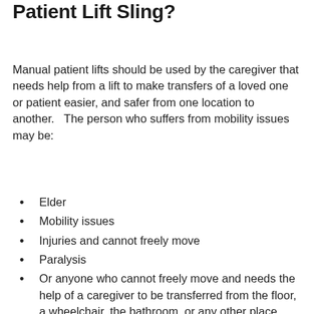Who Should Use A Manual Patient Lift Sling?
Manual patient lifts should be used by the caregiver that needs help from a lift to make transfers of a loved one or patient easier, and safer from one location to another.   The person who suffers from mobility issues may be:
Elder
Mobility issues
Injuries and cannot freely move
Paralysis
Or anyone who cannot freely move and needs the help of a caregiver to be transferred from the floor, a wheelchair, the bathroom, or any other place within the home.